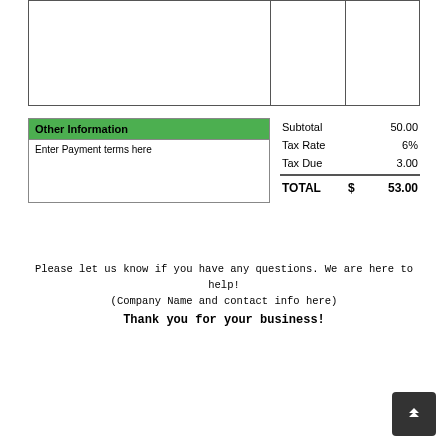|  |  |  |
| --- | --- | --- |
|  |  |  |
Other Information
Enter Payment terms here
| Subtotal |  | 50.00 |
| --- | --- | --- |
| Tax Rate |  | 6% |
| Tax Due |  | 3.00 |
| TOTAL | $ | 53.00 |
Please let us know if you have any questions. We are here to help!
(Company Name and contact info here)
Thank you for your business!